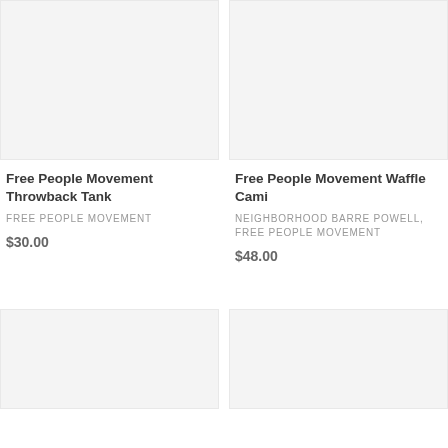[Figure (photo): Product image placeholder for Free People Movement Throwback Tank, light gray background]
[Figure (photo): Product image placeholder for Free People Movement Waffle Cami, light gray background]
Free People Movement Throwback Tank
FREE PEOPLE MOVEMENT
$30.00
Free People Movement Waffle Cami
NEIGHBORHOOD BARRE POWELL, FREE PEOPLE MOVEMENT
$48.00
[Figure (photo): Product image placeholder bottom left, light gray background]
[Figure (photo): Product image placeholder bottom right, light gray background]